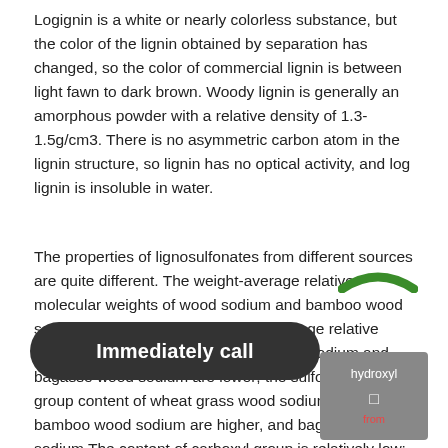Logignin is a white or nearly colorless substance, but the color of the lignin obtained by separation has changed, so the color of commercial lignin is between light fawn to dark brown. Woody lignin is generally an amorphous powder with a relative density of 1.3-1.5g/cm3. There is no asymmetric carbon atom in the lignin structure, so lignin has no optical activity, and log lignin is insoluble in water.
The properties of lignosulfonates from different sources are quite different. The weight-average relative molecular weights of wood sodium and bamboo wood sodium are larger, and the weight-average relative molecular weights of wheat grass wood sodium and bagasse wood sodium are lower; the sulfonic acid group content of wheat grass wood sodium and bamboo wood sodium are higher, and bagasse wood sodium The content of carboxyl group is relatively low; the carboxyl group content of four kinds of w...; the content of phenolic hydroxyl g...her. Even if lignosulfonates from the same source have different relative molecular weights, their